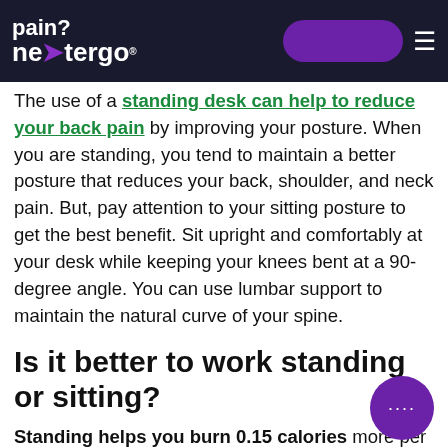pain? nextergo
The use of a standing desk can help to reduce your back pain by improving your posture. When you are standing, you tend to maintain a better posture that reduces your back, shoulder, and neck pain. But, pay attention to your sitting posture to get the best benefit. Sit upright and comfortably at your desk while keeping your knees bent at a 90-degree angle. You can use lumbar support to maintain the natural curve of your spine.
Is it better to work standing or sitting?
Standing helps you burn 0.15 calories more per minute than sitting. You cannot stand all day as it can cause pain in your legs and other health issues. The combination of sitting and standing will work for you perfectly. Based on your BMI, you can calculate your standing and sitting